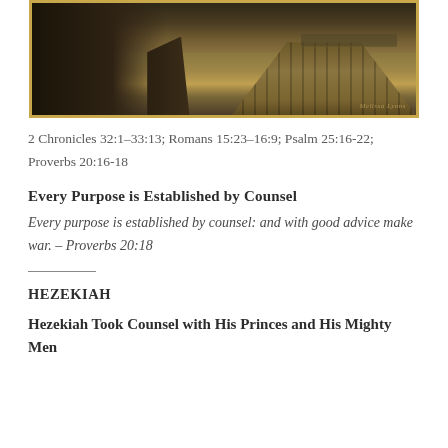[Figure (photo): A wooden pier or boardwalk extending into water at dusk or dawn, with a warm golden-brown tone and bridge visible in background. Photo credit watermark visible.]
2 Chronicles 32:1–33:13; Romans 15:23–16:9; Psalm 25:16-22; Proverbs 20:16-18
Every Purpose is Established by Counsel
Every purpose is established by counsel: and with good advice make war. – Proverbs 20:18
HEZEKIAH
Hezekiah Took Counsel with His Princes and His Mighty Men